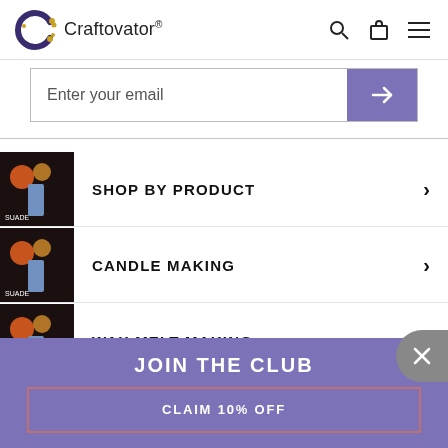Craftovator®
Enter your email
SHOP BY PRODUCT
CANDLE MAKING
WAX MELT MAKING
JOIN THE CLUB
CLAIM 10% OFF